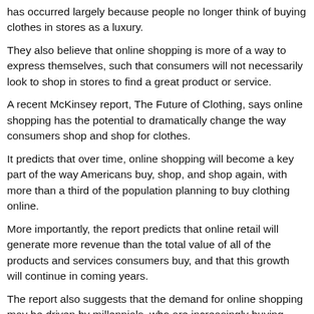has occurred largely because people no longer think of buying clothes in stores as a luxury.
They also believe that online shopping is more of a way to express themselves, such that consumers will not necessarily look to shop in stores to find a great product or service.
A recent McKinsey report, The Future of Clothing, says online shopping has the potential to dramatically change the way consumers shop and shop for clothes.
It predicts that over time, online shopping will become a key part of the way Americans buy, shop, and shop again, with more than a third of the population planning to buy clothing online.
More importantly, the report predicts that online retail will generate more revenue than the total value of all of the products and services consumers buy, and that this growth will continue in coming years.
The report also suggests that the demand for online shopping may be driven by millennials, who are increasingly buying clothes